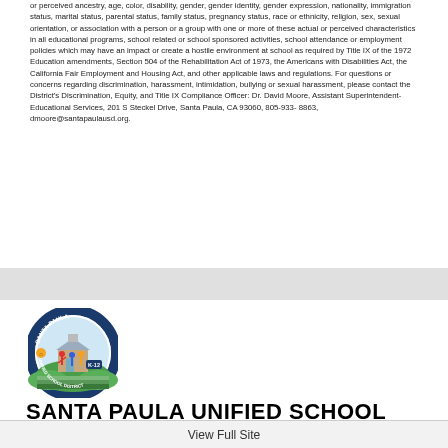or perceived ancestry, age, color, disability, gender, gender identity, gender expression, nationality, immigration status, marital status, parental status, family status, pregnancy status, race or ethnicity, religion, sex, sexual orientation, or association with a person or a group with one or more of these actual or perceived characteristics in all educational programs, school related or school sponsored activities, school attendance or employment policies which may have an impact or create a hostile environment at school as required by Title IX of the 1972 Education amendments, Section 504 of the Rehabilitation Act of 1973, the Americans with Disabilities Act, the California Fair Employment and Housing Act, and other applicable laws and regulations. For questions or concerns regarding discrimination, harassment, intimidation, bullying or sexual harassment, please contact the District's Discrimination, Equity, and Title IX Compliance Officer: Dr. David Moore, Assistant Superintendent-Educational Services, 201 S Steckel Drive, Santa Paula, CA 93060, 805-933-8863, dmoore@santapaulausd.org.
[Figure (logo): Santa Paula Unified School District circular logo with children and school building illustration, K-12 text]
SANTA PAULA UNIFIED SCHOOL DISTRICT
COMMITTED TO SERVING EVERY STUDENT EVERY DAY
View Full Site